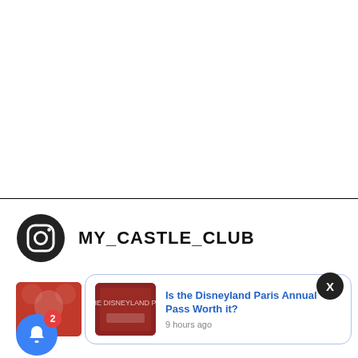[Figure (screenshot): White blank area at top of page]
[Figure (screenshot): Instagram icon (camera logo) with username MY_CASTLE_CLUB]
MY_CASTLE_CLUB
[Figure (screenshot): Push notification card showing article 'Is the Disneyland Paris Annual Pass Worth it?' with thumbnail image, posted 9 hours ago. Close X button in top right corner. Bell notification icon with badge showing 2.]